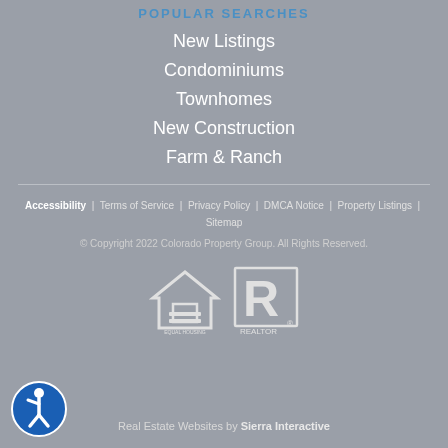POPULAR SEARCHES
New Listings
Condominiums
Townhomes
New Construction
Farm & Ranch
Accessibility  |  Terms of Service  |  Privacy Policy  |  DMCA Notice  |  Property Listings  |  Sitemap
© Copyright 2022 Colorado Property Group. All Rights Reserved.
[Figure (logo): Equal Housing Opportunity logo and REALTOR logo side by side]
[Figure (logo): Accessibility icon - blue circle with wheelchair user symbol]
Real Estate Websites by Sierra Interactive